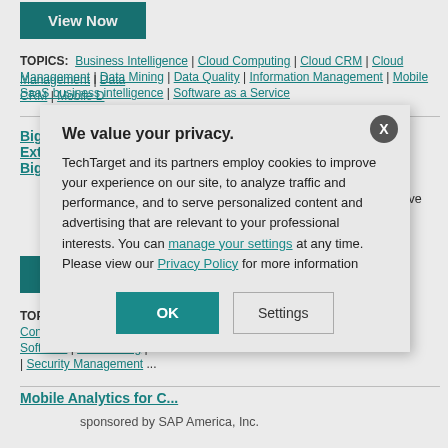[Figure (other): View Now button (teal/green background, white bold text)]
TOPICS: Business Intelligence | Cloud Computing | Cloud CRM | Cloud Management | Data Management | Data Mining | Data Quality | Information Management | Mobile CRM | Mobile D... | SaaS business intelligence | Software as a Service
Big Data, Integration and Governance: Use Case – How to Extend Security I... Big Data Solutions
sponsored by IBM.
WEBCAST: Access ... how you can use big... protect massive data...
Posted: 15 Jan 201...
[Figure (other): View Now button (teal/green background, white bold text)]
TOPICS: Analytic Appli... | Content Management | D... Software | Data Mining | ... | Security Management ...
Mobile Analytics for C...
sponsored by SAP America, Inc.
We value your privacy. TechTarget and its partners employ cookies to improve your experience on our site, to analyze traffic and performance, and to serve personalized content and advertising that are relevant to your professional interests. You can manage your settings at any time. Please view our Privacy Policy for more information